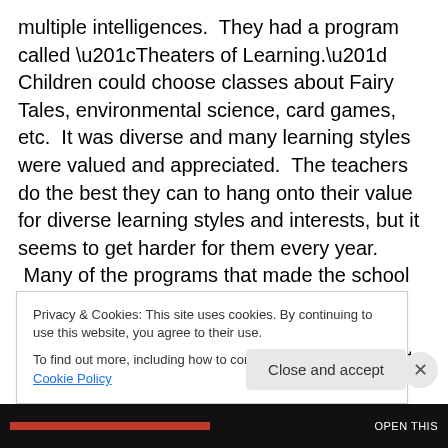multiple intelligences.  They had a program called “Theaters of Learning.” Children could choose classes about Fairy Tales, environmental science, card games, etc.  It was diverse and many learning styles were valued and appreciated.  The teachers do the best they can to hang onto their value for diverse learning styles and interests, but it seems to get harder for them every year.  Many of the programs that made the school inclusive of all learners and celebrated diversity have gone away in the wake of mandates from the district office that claims to value diversity.
Privacy & Cookies: This site uses cookies. By continuing to use this website, you agree to their use.
To find out more, including how to control cookies, see here: Cookie Policy